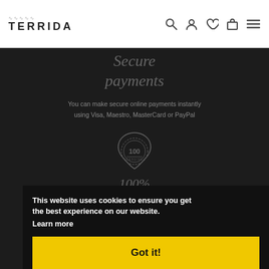TERRIDA
Secure payments
You can make secure online payments instantly using Visa, Maestro, MasterCard or PayPal
[Figure (logo): Circular badge/seal with '100' text inside a leather hide shape]
100%
From the Italian tradition in fashion and the cult comes Terrida, the venetian company that created a creed from handmade
This website uses cookies to ensure you get the best experience on our website. Learn more
Got it!
2023 © Terrida Srl | via Palladio, 4 - 35011 Campodarsego (PD) Italy | P. IVA 02058000273 - Contacts